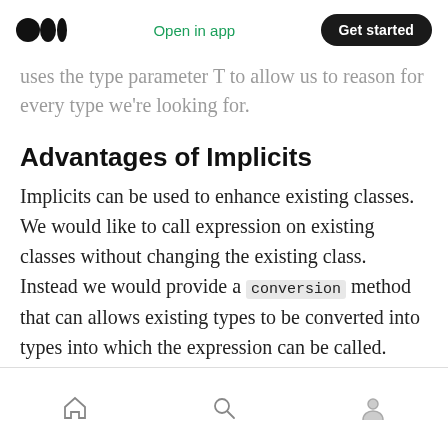Medium logo | Open in app | Get started
uses the type parameter T to allow us to reason for every type we're looking for.
Advantages of Implicits
Implicits can be used to enhance existing classes. We would like to call expression on existing classes without changing the existing class. Instead we would provide a conversion method that can allows existing types to be converted into types into which the expression can be called. Let's take an example
Home | Search | Profile icons